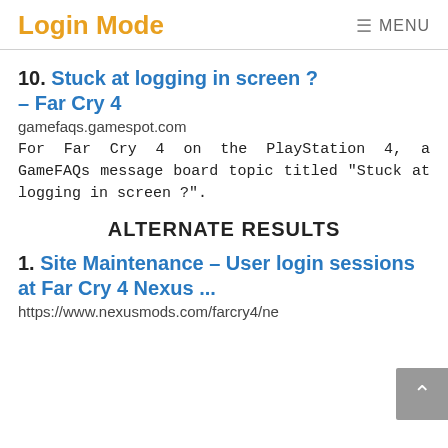Login Mode  ≡ MENU
10. Stuck at logging in screen ? – Far Cry 4
gamefaqs.gamespot.com
For Far Cry 4 on the PlayStation 4, a GameFAQs message board topic titled "Stuck at logging in screen ?".
ALTERNATE RESULTS
1. Site Maintenance – User login sessions at Far Cry 4 Nexus ...
https://www.nexusmods.com/farcry4/ne